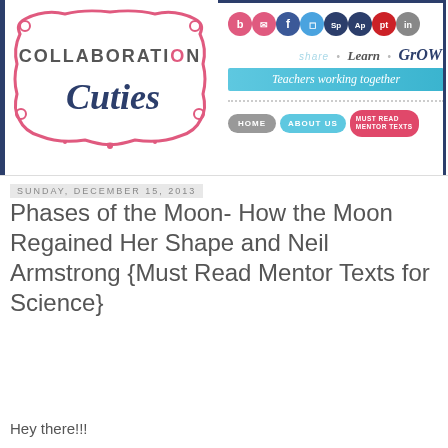[Figure (logo): Collaboration Cuties blog header logo with ornate pink frame, navy cursive 'Cuties' text, social media icons, 'Share Learn Grow' tagline, 'Teachers working together' banner, and navigation buttons for Home, About Us, Must Read Mentor Texts.]
Sunday, December 15, 2013
Phases of the Moon- How the Moon Regained Her Shape and Neil Armstrong {Must Read Mentor Texts for Science}
Hey there!!!